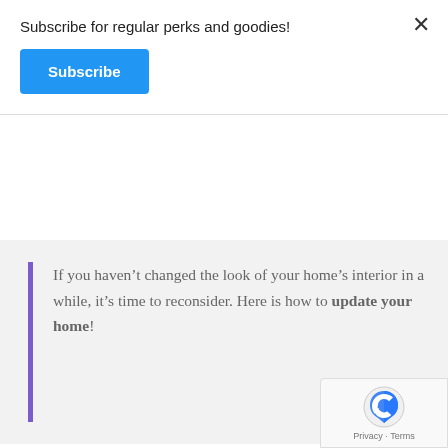Subscribe for regular perks and goodies!
Subscribe
If you haven’t changed the look of your home’s interior in a while, it’s time to reconsider. Here is how to update your home!
Update Your Home
We change out our clothing wardrobe every season, getting rid of outdated items. But do we that with our homes? If you haven’t changed the look of your home’s interior in a while, it’s time to reconsider. With minor effort, you’ll give your home a